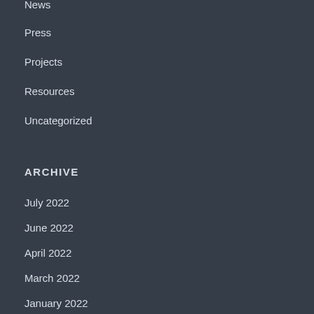News
Press
Projects
Resources
Uncategorized
ARCHIVE
July 2022
June 2022
April 2022
March 2022
January 2022
November 2021
September 2021
March 2021